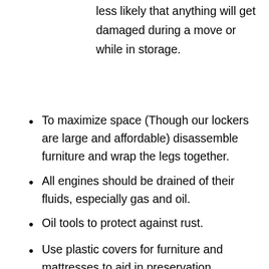less likely that anything will get damaged during a move or while in storage.
To maximize space (Though our lockers are large and affordable) disassemble furniture and wrap the legs together.
All engines should be drained of their fluids, especially gas and oil.
Oil tools to protect against rust.
Use plastic covers for furniture and mattresses to aid in preservation.
Leave appliances doors slightly open and make sure they are